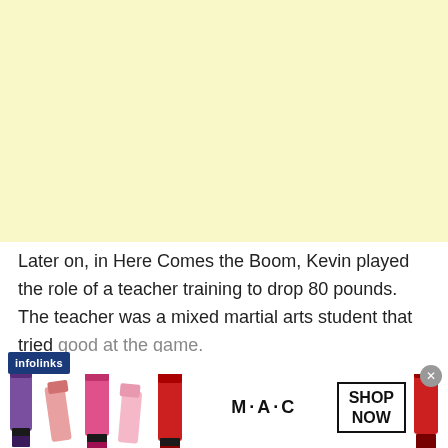[Figure (other): Light yellow rectangular block at top of page, likely an advertisement placeholder]
Later on, in Here Comes the Boom, Kevin played the role of a teacher training to drop 80 pounds. The teacher was a mixed martial arts student that tried good at the game.
[Figure (other): MAC cosmetics advertisement banner showing lipsticks in purple, pink shades with MAC logo and SHOP NOW button]